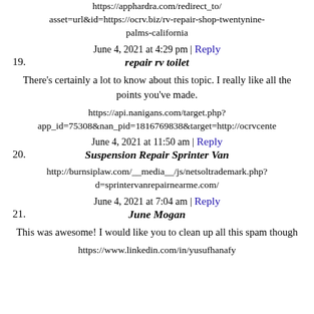https://apphardra.com/redirect_to/?asset=url&id=https://ocrv.biz/rv-repair-shop-twentynine-palms-california
June 4, 2021 at 4:29 pm | Reply
19. repair rv toilet
There's certainly a lot to know about this topic. I really like all the points you've made.
https://api.nanigans.com/target.php?app_id=75308&nan_pid=1816769838&target=http://ocrvcente
June 4, 2021 at 11:50 am | Reply
20. Suspension Repair Sprinter Van
http://burnsiplaw.com/__media__/js/netsoltrademark.php?d=sprintervanrepairnearme.com/
June 4, 2021 at 7:04 am | Reply
21. June Mogan
This was awesome! I would like you to clean up all this spam though
https://www.linkedin.com/in/yusufhanafy